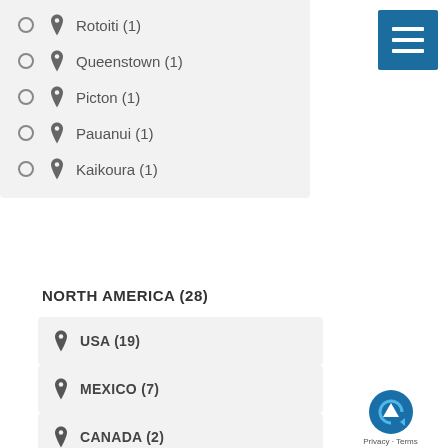Rotoiti (1)
Queenstown (1)
Picton (1)
Pauanui (1)
Kaikoura (1)
[Figure (other): Hamburger/menu button icon with three white horizontal lines on a blue background]
NORTH AMERICA (28)
USA (19)
MEXICO (7)
CANADA (2)
[Figure (other): Google reCAPTCHA logo with Privacy and Terms links]